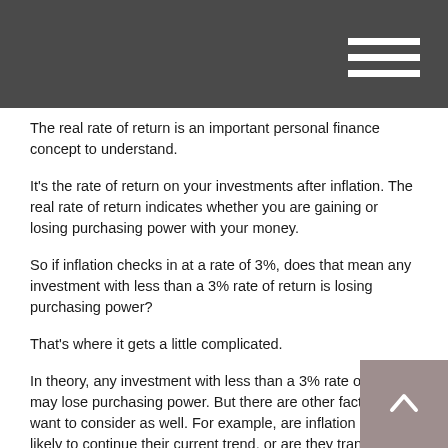The real rate of return is an important personal finance concept to understand.
It's the rate of return on your investments after inflation. The real rate of return indicates whether you are gaining or losing purchasing power with your money.
So if inflation checks in at a rate of 3%, does that mean any investment with less than a 3% rate of return is losing purchasing power?
That's where it gets a little complicated.
In theory, any investment with less than a 3% rate of return may lose purchasing power. But there are other factors you want to consider as well. For example, are inflation rates likely to continue their current trend, or are they transitory effects of broader market changes?
In the end, the real rate of return is only one factor to consider